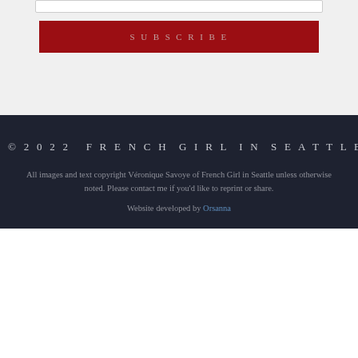[Figure (other): Input field bar (text entry box) at top of subscription form]
SUBSCRIBE
© 2022 FRENCH GIRL IN SEATTLE.
All images and text copyright Véronique Savoye of French Girl in Seattle unless otherwise noted. Please contact me if you'd like to reprint or share.
Website developed by Orsanna